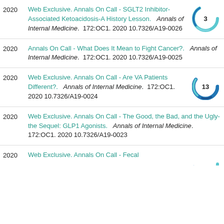2020  Web Exclusive. Annals On Call - SGLT2 Inhibitor-Associated Ketoacidosis-A History Lesson.  Annals of Internal Medicine.  172:OC1. 2020  10.7326/A19-0026  [citation count: 3]
2020  Annals On Call - What Does It Mean to Fight Cancer?.  Annals of Internal Medicine.  172:OC1. 2020  10.7326/A19-0025
2020  Web Exclusive. Annals On Call - Are VA Patients Different?.  Annals of Internal Medicine.  172:OC1. 2020  10.7326/A19-0024  [citation count: 13]
2020  Web Exclusive. Annals On Call - The Good, the Bad, and the Ugly-the Sequel: GLP1 Agonists.  Annals of Internal Medicine.  172:OC1. 2020  10.7326/A19-0023
2020  Web Exclusive. Annals On Call - Fecal [truncated]